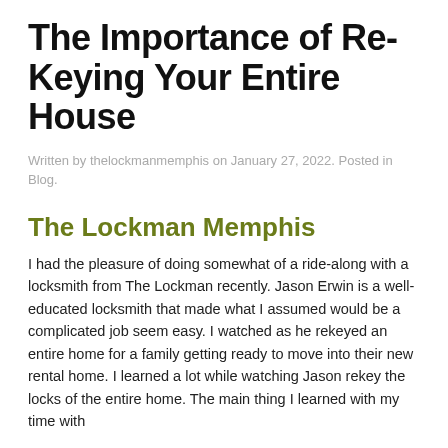The Importance of Re-Keying Your Entire House
Written by thelockmanmemphis on January 27, 2022. Posted in Blog.
The Lockman Memphis
I had the pleasure of doing somewhat of a ride-along with a locksmith from The Lockman recently. Jason Erwin is a well-educated locksmith that made what I assumed would be a complicated job seem easy. I watched as he rekeyed an entire home for a family getting ready to move into their new rental home. I learned a lot while watching Jason rekey the locks of the entire home. The main thing I learned with my time with